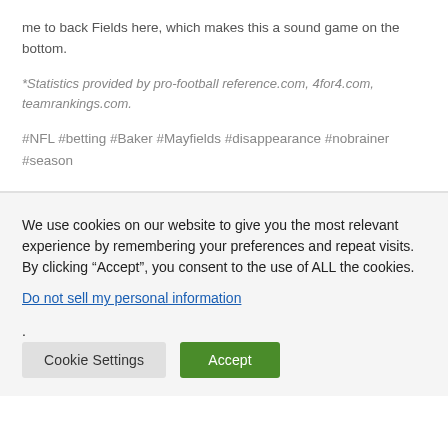me to back Fields here, which makes this a sound game on the bottom.
*Statistics provided by pro-football reference.com, 4for4.com, teamrankings.com.
#NFL #betting #Baker #Mayfields #disappearance #nobrainer #season
We use cookies on our website to give you the most relevant experience by remembering your preferences and repeat visits. By clicking “Accept”, you consent to the use of ALL the cookies.
Do not sell my personal information.